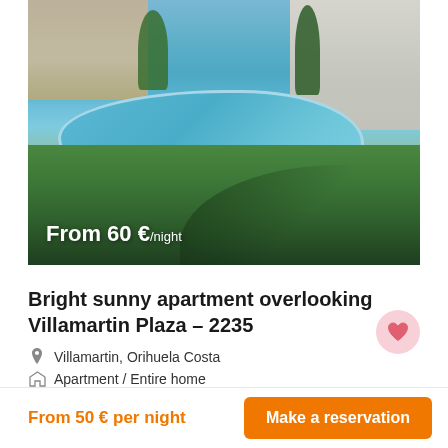[Figure (photo): Outdoor swimming pool area with blue water, green lawn, palm trees, and apartment buildings in the background. Overlaid text reads 'From 60 €/night'.]
Bright sunny apartment overlooking Villamartin Plaza – 2235
Villamartin, Orihuela Costa
Apartment / Entire home
From 50 € per night
Make a reservation